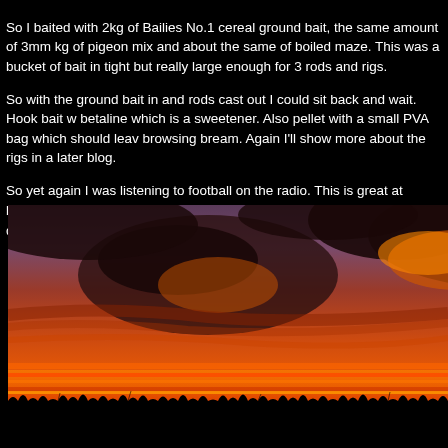So I baited with 2kg of Bailies No.1 cereal ground bait, the same amount of 3mm kg of pigeon mix and about the same of boiled maze. This was a bucket of bait in tight but really large enough for 3 rods and rigs.
So with the ground bait in and rods cast out I could sit back and wait. Hook bait w betaline which is a sweetener. Also pellet with a small PVA bag which should leav browsing bream. Again I'll show more about the rigs in a later blog.
So yet again I was listening to football on the radio. This is great at beating the b the darkness. Although at this time of year it doesn't get dark until nearly 8.45pm.
[Figure (photo): A dramatic sunset photograph showing deep red and orange sky with dark clouds silhouetted against the vivid colors. The horizon shows a dark treeline silhouette at the bottom.]